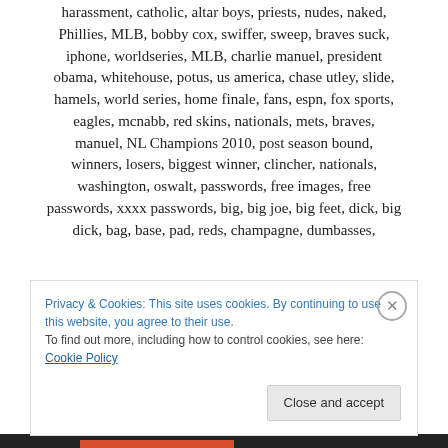harassment, catholic, altar boys, priests, nudes, naked, Phillies, MLB, bobby cox, swiffer, sweep, braves suck, iphone, worldseries, MLB, charlie manuel, president obama, whitehouse, potus, us america, chase utley, slide, hamels, world series, home finale, fans, espn, fox sports, eagles, mcnabb, red skins, nationals, mets, braves, manuel, NL Champions 2010, post season bound, winners, losers, biggest winner, clincher, nationals, washington, oswalt, passwords, free images, free passwords, xxxx passwords, big, big joe, big feet, dick, big dick, bag, base, pad, reds, champagne, dumbasses,
Privacy & Cookies: This site uses cookies. By continuing to use this website, you agree to their use.
To find out more, including how to control cookies, see here: Cookie Policy
Close and accept